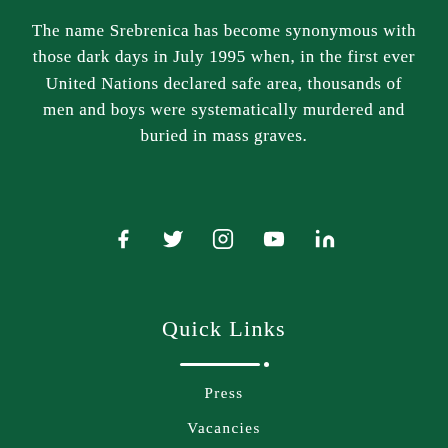The name Srebrenica has become synonymous with those dark days in July 1995 when, in the first ever United Nations declared safe area, thousands of men and boys were systematically murdered and buried in mass graves.
[Figure (infographic): Social media icons: Facebook, Twitter, Instagram, YouTube, LinkedIn displayed in a row]
Quick Links
Press
Vacancies